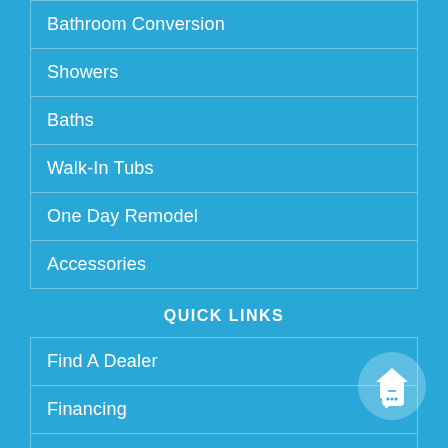Bathroom Conversion
Showers
Baths
Walk-In Tubs
One Day Remodel
Accessories
QUICK LINKS
Find A Dealer
Financing
Warranty
Repair Service
Free Estimate
[Figure (illustration): House/home icon with chat bubble overlay button in bottom-right corner]